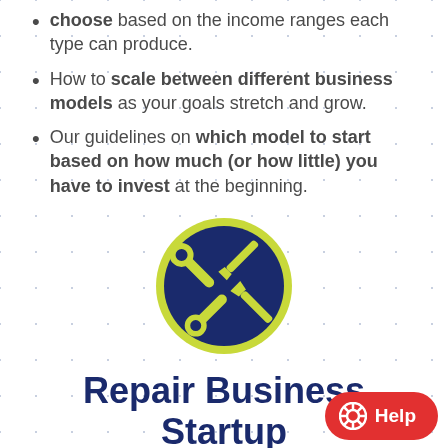choose based on the income ranges each type can produce.
How to scale between different business models as your goals stretch and grow.
Our guidelines on which model to start based on how much (or how little) you have to invest at the beginning.
[Figure (illustration): Dark navy blue circle with a yellow/lime screwdriver and wrench crossed icon, surrounded by a lime green ring border.]
Repair Business Startup Inventory
How to decide what inventory you need and